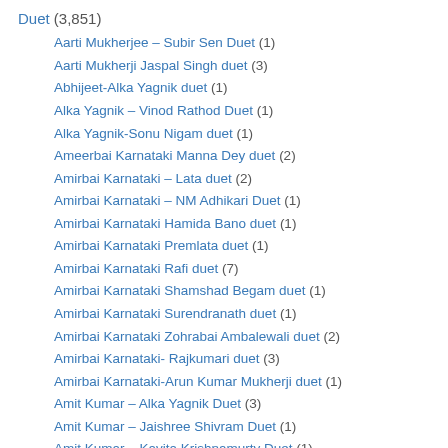Duet (3,851)
Aarti Mukherjee – Subir Sen Duet (1)
Aarti Mukherji Jaspal Singh duet (3)
Abhijeet-Alka Yagnik duet (1)
Alka Yagnik – Vinod Rathod Duet (1)
Alka Yagnik-Sonu Nigam duet (1)
Ameerbai Karnataki Manna Dey duet (2)
Amirbai Karnataki – Lata duet (2)
Amirbai Karnataki – NM Adhikari Duet (1)
Amirbai Karnataki Hamida Bano duet (1)
Amirbai Karnataki Premlata duet (1)
Amirbai Karnataki Rafi duet (7)
Amirbai Karnataki Shamshad Begam duet (1)
Amirbai Karnataki Surendranath duet (1)
Amirbai Karnataki Zohrabai Ambalewali duet (2)
Amirbai Karnataki- Rajkumari duet (3)
Amirbai Karnataki-Arun Kumar Mukherji duet (1)
Amit Kumar – Alka Yagnik Duet (3)
Amit Kumar – Jaishree Shivram Duet (1)
Amit Kumar – Kavita Krishnamurty Duet (1)